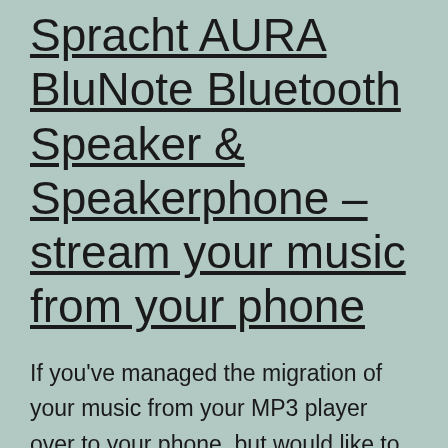Spracht AURA BluNote Bluetooth Speaker & Speakerphone – stream your music from your phone
If you've managed the migration of your music from your MP3 player over to your phone, but would like to hear it from a speaker instead of through headphones, then this Bluetooth speaker may be just for you. The Spracht AURA BluNote speaker lets you stream your music via Bluetooth from your phone. Includes